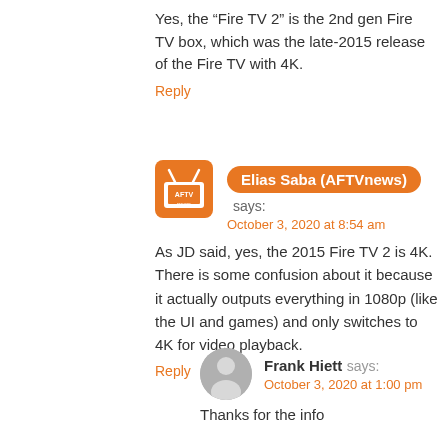Yes, the “Fire TV 2” is the 2nd gen Fire TV box, which was the late-2015 release of the Fire TV with 4K.
Reply
Elias Saba (AFTVnews) says: October 3, 2020 at 8:54 am
As JD said, yes, the 2015 Fire TV 2 is 4K. There is some confusion about it because it actually outputs everything in 1080p (like the UI and games) and only switches to 4K for video playback.
Reply
Frank Hiett says: October 3, 2020 at 1:00 pm
Thanks for the info